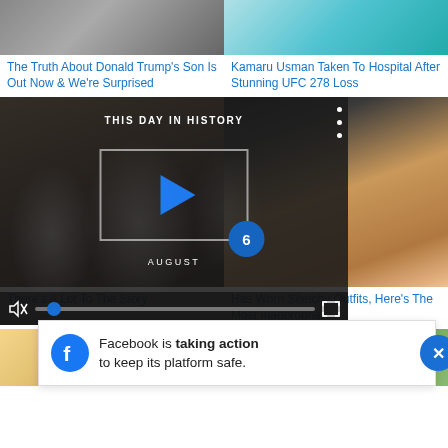[Figure (photo): Partial photo of a person in a suit (top cut off), left column]
[Figure (photo): Partial photo with teal/blue abstract shapes, right column]
The Truth About Donald Trump's Son Is Out Now & We're Surprised
Kamaru Usman Taken To Hospital After Stunning UFC 278 Loss
[Figure (photo): Close-up face photo of a Black man with eyes closed/half-open, left column]
[Figure (photo): Close-up face photo of a Black woman with makeup and earrings (Michelle Obama), right column]
[Figure (screenshot): Video overlay showing This Day In History with play button, August label, mute and progress controls]
There's A Lot To The Story
Has Worn Sketchy Outfits, Here's The Most Inappropriate
[Figure (photo): Partial photo bottom left, person with blonde hair]
[Figure (photo): Partial photo bottom right, green background]
[Figure (screenshot): Facebook banner: Facebook is taking action to keep its platform safe. with Facebook logo and X close button]